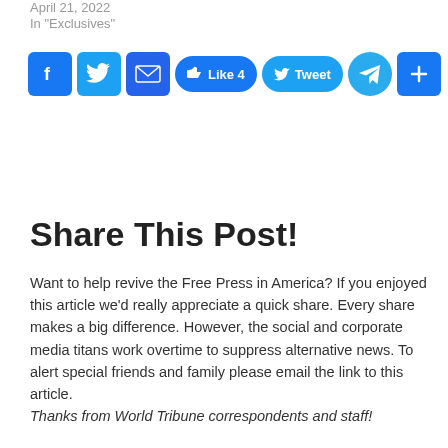April 21, 2022
In "Exclusives"
[Figure (other): Social share buttons row: Facebook, Twitter, Email, Like 4, Tweet, Telegram, Share]
Share This Post!
Want to help revive the Free Press in America? If you enjoyed this article we'd really appreciate a quick share. Every share makes a big difference. However, the social and corporate media titans work overtime to suppress alternative news. To alert special friends and family please email the link to this article.
Thanks from World Tribune correspondents and staff!